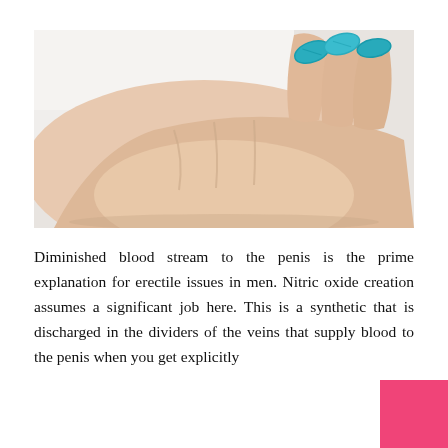[Figure (photo): Close-up photo of an open human hand/palm holding small teal/blue pills or tablets, against a light background.]
Diminished blood stream to the penis is the prime explanation for erectile issues in men. Nitric oxide creation assumes a significant job here. This is a synthetic that is discharged in the dividers of the veins that supply blood to the penis when you get explicitly